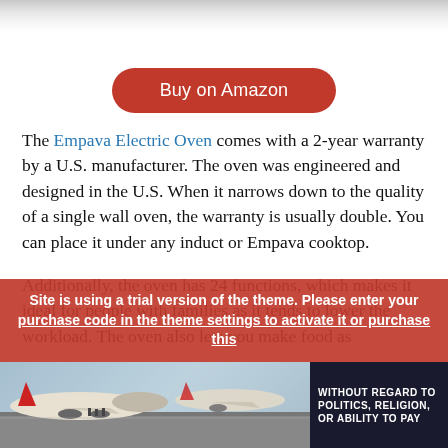[Figure (photo): Bottom edge of a stainless steel oven product image strip at the top of the page]
Buy on Amazon
The Empava Electric Oven comes with a 2-year warranty by a U.S. manufacturer. The oven was engineered and designed in the U.S. When it narrows down to the quality of a single wall oven, the warranty is usually double. You can place it under any induct or Empava cooktop.
Additionally, the oven has 24 functions, which makes it ideal for people with families as it tends to lower the workload. The oven also lets you make food as
Site is using a trial version of the theme. Please enter your purchase code in the theme settings to activate it or purchase this
[Figure (photo): Advertisement banner showing cargo planes being loaded on a tarmac, with text WITHOUT REGARD TO on the right side dark panel]